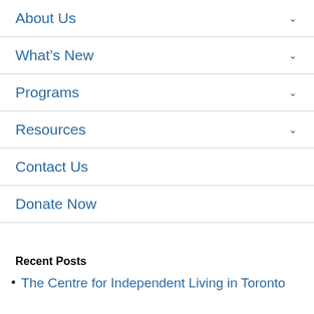About Us
What's New
Programs
Resources
Contact Us
Donate Now
Recent Posts
The Centre for Independent Living in Toronto